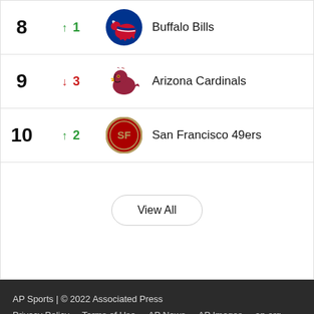| Rank | Change | Team |
| --- | --- | --- |
| 8 | ↑ 1 | Buffalo Bills |
| 9 | ↓ 3 | Arizona Cardinals |
| 10 | ↑ 2 | San Francisco 49ers |
View All
AP Sports | © 2022 Associated Press
Privacy Policy   Terms of Use   AP News   AP Images   ap.org
Cookie Settings